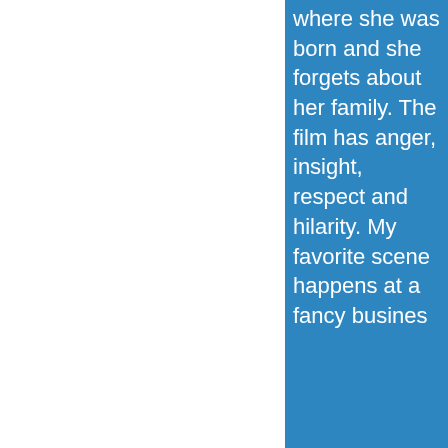where she was born and she forgets about her family. The film has anger, insight, respect and hilarity. My favorite scene happens at a fancy busines